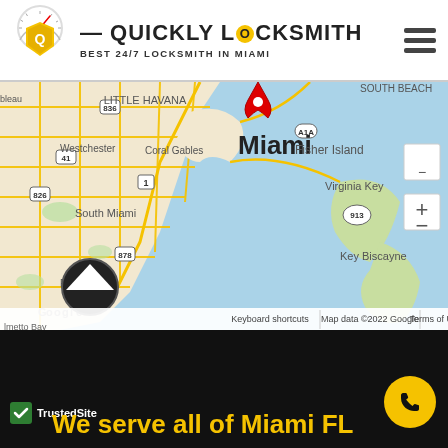[Figure (logo): Quickly Locksmith logo with shield icon, speedometer, brand name and tagline]
[Figure (map): Google Maps screenshot showing Miami FL area including Little Havana, South Beach, Coral Gables, South Miami, Pinecrest, Fisher Island, Virginia Key, Key Biscayne, map controls and Google branding]
[Figure (logo): TrustedSite badge with checkmark]
We serve all of Miami FL